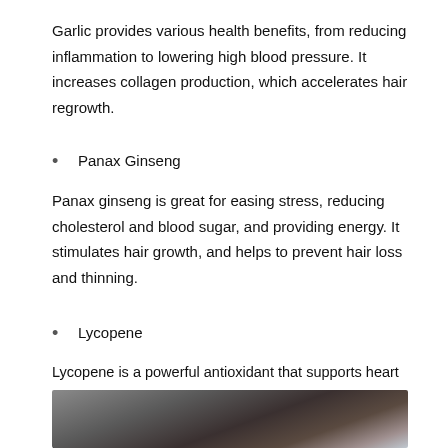Garlic provides various health benefits, from reducing inflammation to lowering high blood pressure. It increases collagen production, which accelerates hair regrowth.
Panax Ginseng
Panax ginseng is great for easing stress, reducing cholesterol and blood sugar, and providing energy. It stimulates hair growth, and helps to prevent hair loss and thinning.
Lycopene
Lycopene is a powerful antioxidant that supports heart health and reduces cancer risk. It encourages proper blood circulation on your scalp, which can prevent hair loss and damage.
[Figure (photo): Photo of a person touching or examining their hair, partially cropped at the bottom of the page.]